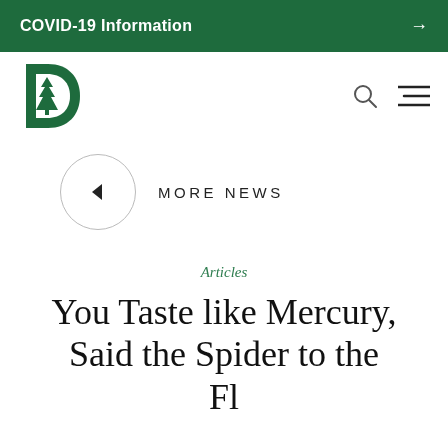COVID-19 Information →
[Figure (logo): Dartmouth College green D with pine tree logo]
MORE NEWS
Articles
You Taste like Mercury, Said the Spider to the Fl...